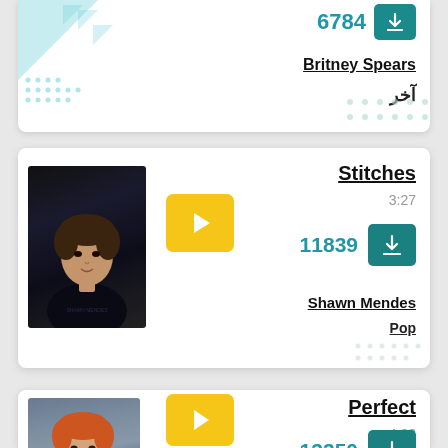[Figure (screenshot): Top partial music card showing download count 6784 with teal download button, artist name Britney Spears, and Arabic text آخر]
[Figure (screenshot): Music card for 'Stitches' by Shawn Mendes. Shows album art photo, yellow play button, song title Stitches, duration 3:27, download count 11839 with teal download button, artist name Shawn Mendes, genre Pop]
[Figure (screenshot): Partial music card for 'Perfect' by Ed Sheeran. Shows artist photo, yellow play button, song title Perfect, duration 4:23, download count 13350 with teal download button]